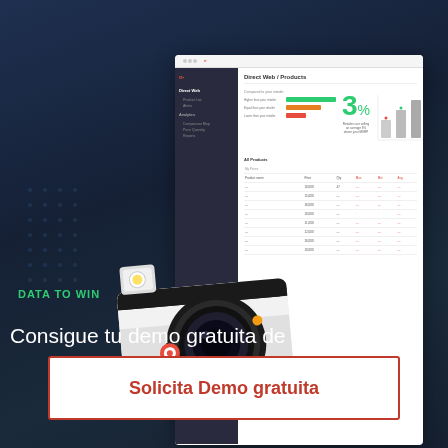[Figure (screenshot): Screenshot of Netrivals analytics dashboard showing Direct Web / Products view with navigation sidebar, a large '3%' green metric, progress bars, and a data table with pricing information]
[Figure (photo): Polaroid OneStep white instant camera with flash, positioned in the foreground overlapping the dashboard screenshot, against a dark background with a person typing on a laptop keyboard]
DATA TO WIN
Consigue tu demo gratuita de Netrivals
Solicita Demo gratuita